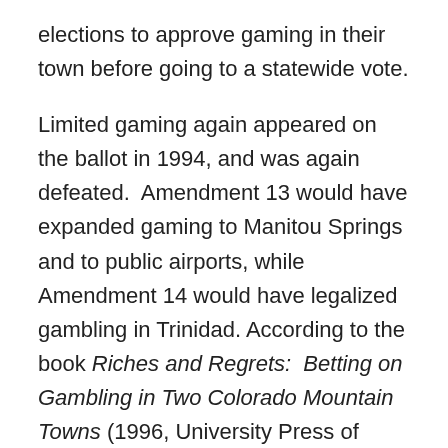elections to approve gaming in their town before going to a statewide vote.
Limited gaming again appeared on the ballot in 1994, and was again defeated.  Amendment 13 would have expanded gaming to Manitou Springs and to public airports, while Amendment 14 would have legalized gambling in Trinidad.  According to the book Riches and Regrets:  Betting on Gambling in Two Colorado Mountain Towns (1996, University Press of Colorado), which is available for checkout from our library, numerous other states defeated gambling measures that year, suggesting national trends.
You can read about the 1992 and 1994